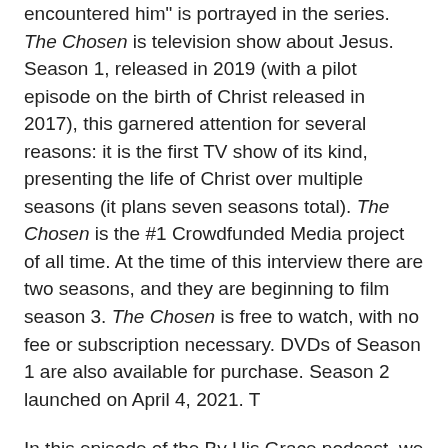encountered him" is portrayed in the series. The Chosen is television show about Jesus. Season 1, released in 2019 (with a pilot episode on the birth of Christ released in 2017), this garnered attention for several reasons: it is the first TV show of its kind, presenting the life of Christ over multiple seasons (it plans seven seasons total). The Chosen is the #1 Crowdfunded Media project of all time. At the time of this interview there are two seasons, and they are beginning to film season 3. The Chosen is free to watch, with no fee or subscription necessary. DVDs of Season 1 are also available for purchase. Season 2 launched on April 4, 2021. T
In this episode of the By His Grace podcast, we talk about special connection of the Chosen music has with people, our need for rescue, the creative process of the music of the Chosen. We conclude the episode with with Matt and Dan sharing what's currently on their personal playlists.